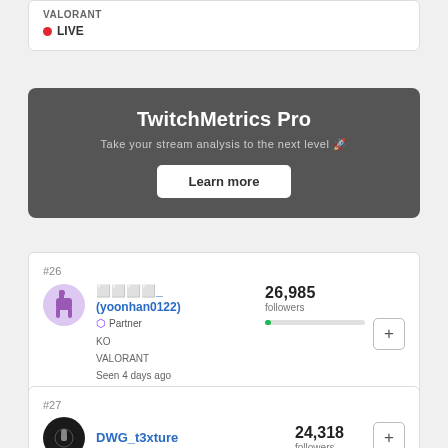VALORANT
LIVE
TwitchMetrics Pro
Take your stream analysis to the next level 🚀
Learn more
#26
윤한_ (yoonhan0122)
Partner
KO
VALORANT
Seen 4 days ago
26,985 followers
#27
DWG_t3xture
24,318 followers